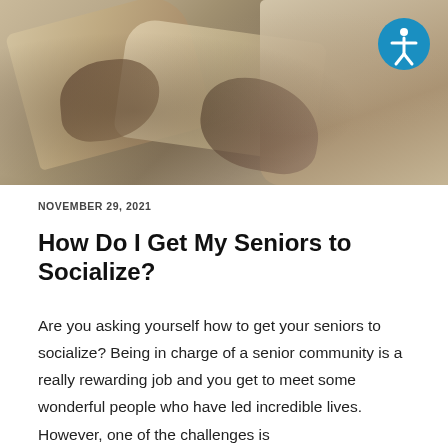[Figure (photo): Photo of elderly people/seniors socializing, hands visible holding what appears to be a newspaper or document, warm tones]
NOVEMBER 29, 2021
How Do I Get My Seniors to Socialize?
Are you asking yourself how to get your seniors to socialize? Being in charge of a senior community is a really rewarding job and you get to meet some wonderful people who have led incredible lives. However, one of the challenges is